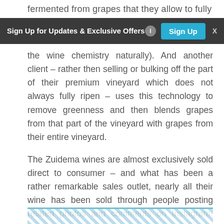fermented from grapes that they allow to fully
[Figure (screenshot): Dark banner advertisement bar with text 'Sign Up for Updates & Exclusive Offers', an info icon, a cyan 'Sign Up' button, and an 'X' close button]
the wine chemistry naturally). And another client – rather then selling or bulking off the part of their premium vineyard which does not always fully ripen – uses this technology to remove greenness and then blends grapes from that part of the vineyard with grapes from their entire vineyard.
The Zuidema wines are almost exclusively sold direct to consumer – and what has been a rather remarkable sales outlet, nearly all their wine has been sold through people posting related photos and comments on Instagram. For more information and to purchase some of this extremely limited production wine, visit: www.zuidemawines.com